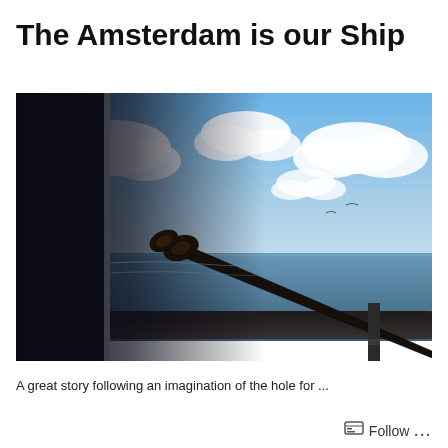The Amsterdam is our Ship
[Figure (photo): View from a ship deck through a window frame showing a rope/chain attached to the railing, with the ocean horizon and a partly cloudy blue sky in the background.]
A great story following an imagination of the hole for ...
Follow ...